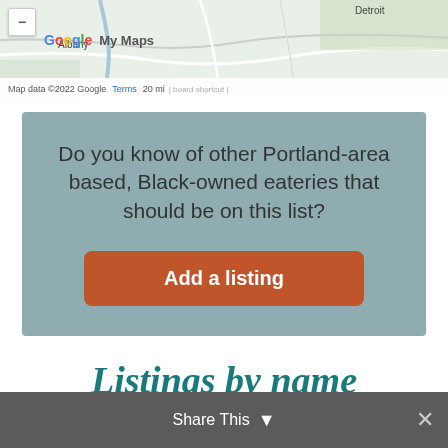[Figure (map): Google My Maps screenshot showing Albany area, with zoom button and map attribution bar reading 'Map data ©2022 Google  Terms  20 mi']
Do you know of other Portland-area based, Black-owned eateries that should be on this list?
Add a listing
Listings by name
A | B | C | D | E | F | G | H | I | J | K  Share This  ✕